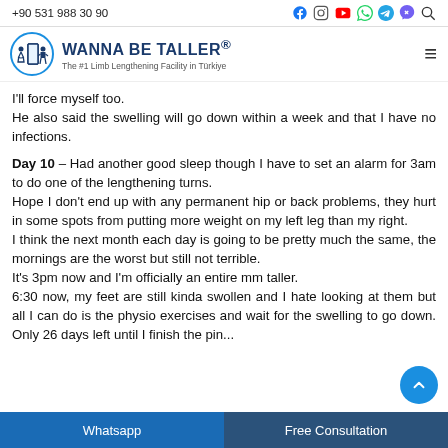+90 531 988 30 90
[Figure (logo): Wanna Be Taller logo with two human figures and a door icon in a circle, brand name 'WANNA BE TALLER®' and subtitle 'The #1 Limb Lengthening Facility in Türkiye']
I'll force myself too.
He also said the swelling will go down within a week and that I have no infections.
Day 10 – Had another good sleep though I have to set an alarm for 3am to do one of the lengthening turns.
Hope I don't end up with any permanent hip or back problems, they hurt in some spots from putting more weight on my left leg than my right.
I think the next month each day is going to be pretty much the same, the mornings are the worst but still not terrible.
It's 3pm now and I'm officially an entire mm taller.
6:30 now, my feet are still kinda swollen and I hate looking at them but all I can do is the physio exercises and wait for the swelling to go down. Only 26 days left until I finish the pin...
Whatsapp    Free Consultation